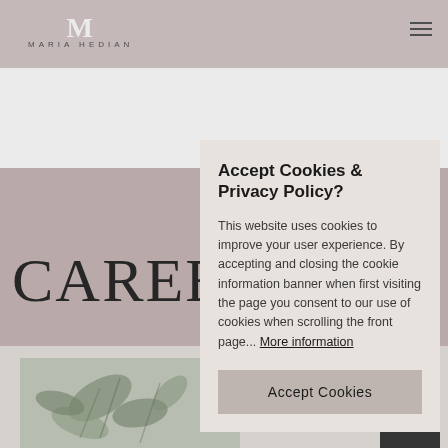[Figure (screenshot): Maria Hedian website screenshot showing header with logo, white section, mauve/pink section with partial 'CAREER' heading text, and a bottom photo area with eucalyptus plant leaves]
Accept Cookies & Privacy Policy?
This website uses cookies to improve your user experience. By accepting and closing the cookie information banner when first visiting the page you consent to our use of cookies when scrolling the front page... More information
Accept Cookies